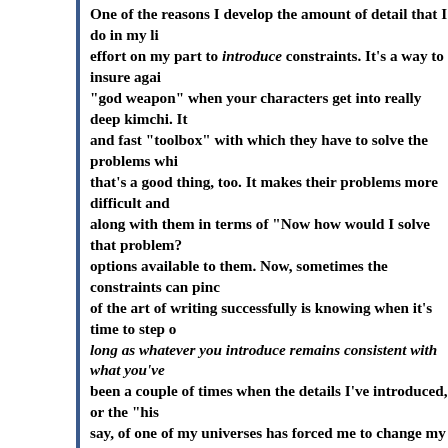One of the reasons I develop the amount of detail that I do in my li... effort on my part to introduce constraints. It's a way to insure agai... "god weapon" when your characters get into really deep kimchi. It... and fast "toolbox" with which they have to solve the problems whi... that's a good thing, too. It makes their problems more difficult and... along with them in terms of "Now how would I solve that problem?... options available to them. Now, sometimes the constraints can pinc... of the art of writing successfully is knowing when it's time to step o... long as whatever you introduce remains consistent with what you've... been a couple of times when the details I've introduced, or the "his... say, of one of my universes has forced me to change my original pla... example of that in the Honorverse would be the fact that I had origi... the Battle Manticore in the novel At All Costs. That had been totally... when I began the series, since she's actually a Horatio Nelson analo... Hornblower analogue, and the Battle of Manticore was supposed to... Manticore's Battle of Trafalgar. I realized that the notion of Honor... mildly upsetting to some of her fans, and I always visualized it as a... plan. The Honorverse wasn't supposed to end when she died, thou... resume about 20 years to 25 years after her death with her children... Unfortunately for that plan — although, quite possibly, fortunately... series — it didn't and couldn't work out that way courtesy of what... began writing his short fiction about Victor Cachat, he asked me ab... intelligence officer and a Havenite intelligence officer might find th... combat. So I gave him one, without really thinking about the fact t... secret Evil Empire which the Children of Honor were going to be ta... initial story worked well enough that he did a couple of others and...